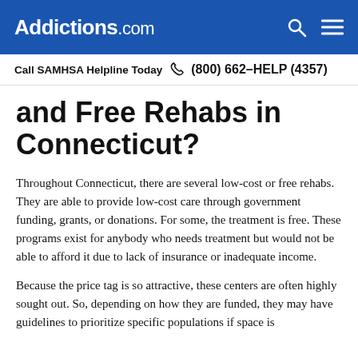Addictions.com
Call SAMHSA Helpline Today  (800) 662-HELP (4357)
and Free Rehabs in Connecticut?
Throughout Connecticut, there are several low-cost or free rehabs. They are able to provide low-cost care through government funding, grants, or donations. For some, the treatment is free. These programs exist for anybody who needs treatment but would not be able to afford it due to lack of insurance or inadequate income.
Because the price tag is so attractive, these centers are often highly sought out. So, depending on how they are funded, they may have guidelines to prioritize specific populations if space is